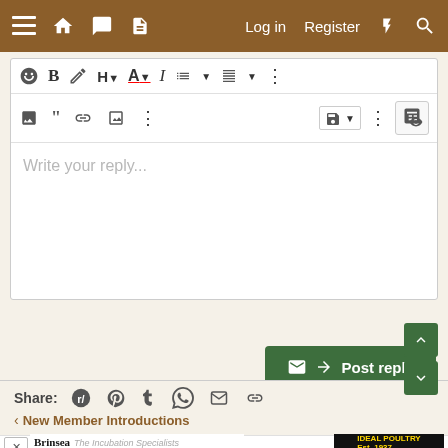≡ 🏠 💬 📄  Log in  Register ⚡ 🔍
[Figure (screenshot): Forum reply text editor with formatting toolbar (emoji, bold, font, italic, list), second toolbar row with image/quote/link/media icons, a text area with placeholder 'Write your reply...', and a green 'Post reply' button]
Share:  Reddit  Pinterest  Tumblr  WhatsApp  Email  Link
< New Member Introductions
[Figure (logo): Brinsea - The Incubation Specialists logo with chick]
[Figure (logo): IDEAL POULTRY Est. 1937 advertisement banner]